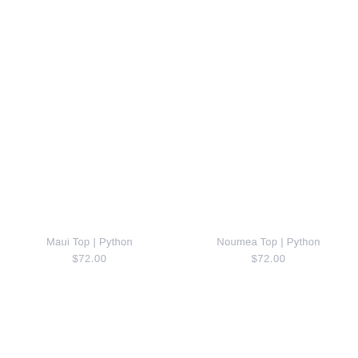Maui Top | Python
$72.00
Noumea Top | Python
$72.00